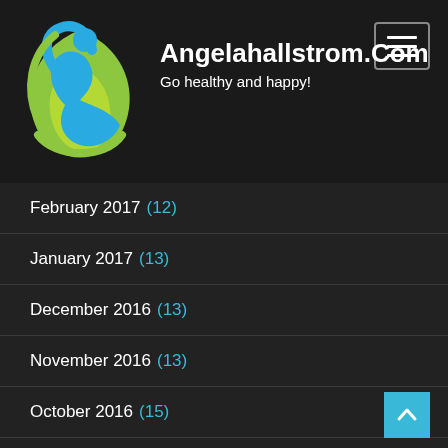[Figure (logo): Angelahallstrom.com logo: blue human figure with green leaf/droplet shape]
Angelahallstrom.Com
Go healthy and happy!
February 2017 (12)
January 2017 (13)
December 2016 (13)
November 2016 (13)
October 2016 (15)
September 2016 (12)
August 2016 (13)
July 2016 (12)